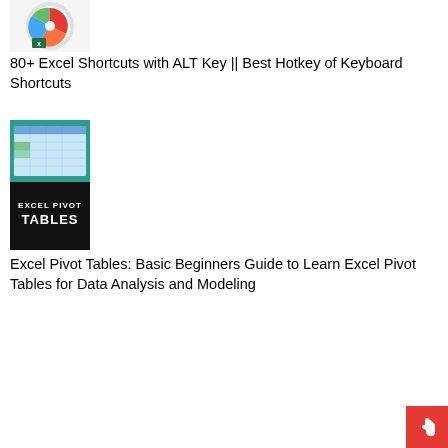[Figure (illustration): Book cover thumbnail for Excel Shortcuts with ALT Key — shows a CD/disc with Excel logo and colorful pie chart graphic]
80+ Excel Shortcuts with ALT Key || Best Hotkey of Keyboard Shortcuts
[Figure (illustration): Book cover for Excel Pivot Tables — dark teal top section showing spreadsheet screenshot, black bottom section with white bold text reading EXCEL PIVOT TABLES]
Excel Pivot Tables: Basic Beginners Guide to Learn Excel Pivot Tables for Data Analysis and Modeling